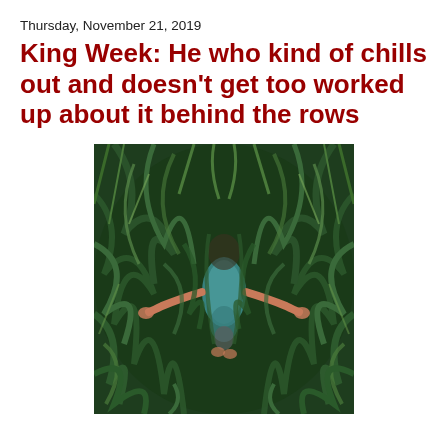Thursday, November 21, 2019
King Week: He who kind of chills out and doesn't get too worked up about it behind the rows
[Figure (photo): Aerial/top-down view of a person lying in a dense field of long green grass or grain crops, wearing a teal/blue top, with arms spread, barely visible among the vegetation.]